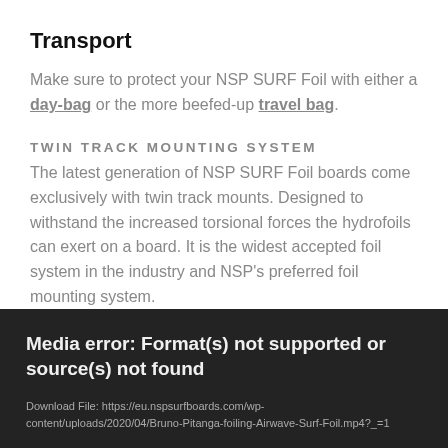Transport
Make sure to protect your NSP SURF Foil with either a day-bag or the more beefed-up travel bag.
TWIN TRACK MOUNTING SYSTEM
The latest generation of NSP SURF Foil boards come exclusively with twin track mounts. Designed to withstand the increased torsional forces the hydrofoils can exert on a board. It is the widest accepted foil system in the industry and NSP's preferred foil mounting system.
Media error: Format(s) not supported or source(s) not found

Download File: https://eu.nspsurfboards.com/wp-content/uploads/2020/04/Bruno-Pitanga-foiling-Airwave-Surf-Foil.mp4?_=1